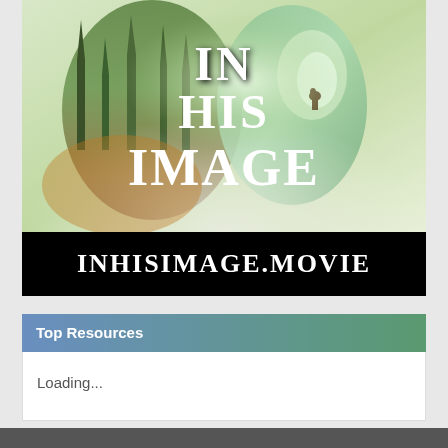[Figure (illustration): Movie poster for 'In His Image' showing two overlapping human head silhouettes filled with forest/nature imagery in green and amber tones, with bold white serif text reading 'IN HIS IMAGE']
INHISIMAGE.MOVIE
Top Resources
Loading...